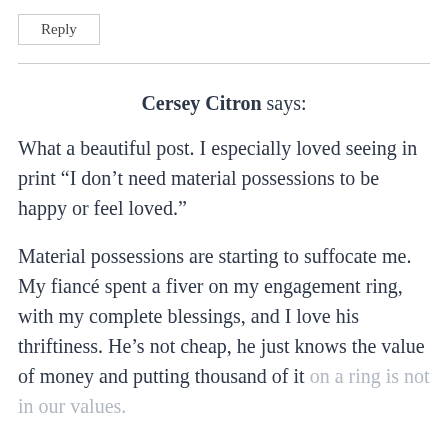Reply
Cersey Citron says:
What a beautiful post. I especially loved seeing in print “I don’t need material possessions to be happy or feel loved.”
Material possessions are starting to suffocate me. My fiancé spent a fiver on my engagement ring, with my complete blessings, and I love his thriftiness. He’s not cheap, he just knows the value of money and putting thousand of it on a ring is not in our values.